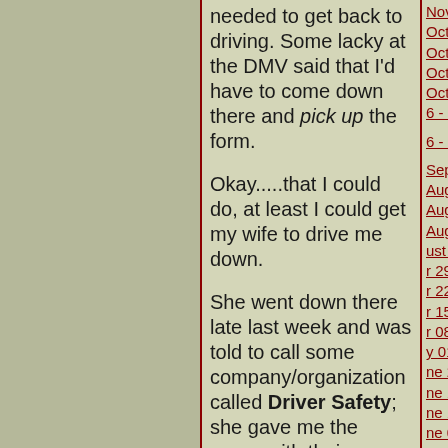needed to get back to driving. Some lacky at the DMV said that I'd have to come down there and pick up the form.

Okay.....that I could do, at least I could get my wife to drive me down.

She went down there late last week and was told to call some company/organization called Driver Safety; she gave me the paper with their number
November 01,
October 28, 2006
October 21, 2006
October 14, 2006
October 07, 2006
6 - September 30,
6 - September 09,
September 02, 2006
August 26, 2006
August 19, 2006
August 12, 2006
ust 05, 2006
r 29, 2006
r 22, 2006
r 15, 2006
r 08, 2006
y 01, 2006
ne 24, 2006
ne 17, 2006
ne 10, 2006
ne 03, 2006
y 27, 2006
y 20, 2006
y 13, 2006
y 06, 2006
il 29, 2006
il 22, 2006
il 15, 2006
il 08, 2006
pril 01, 2006
arch 25, 2006
arch 18, 2006
arch 11, 2006
- March 04, 2006
- February 25, 2006